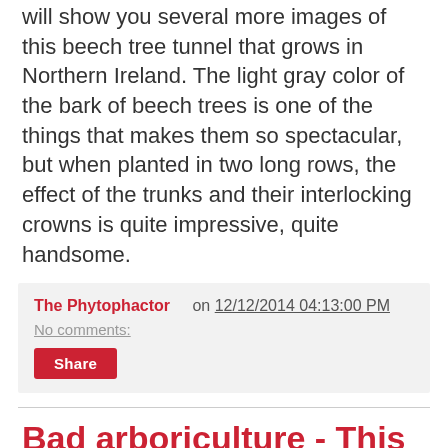will show you several more images of this beech tree tunnel that grows in Northern Ireland. The light gray color of the bark of beech trees is one of the things that makes them so spectacular, but when planted in two long rows, the effect of the trunks and their interlocking crowns is quite impressive, quite handsome.
The Phytophactor  on  12/12/2014 04:13:00 PM
No comments:
Share
Bad arboriculture - This isn't going to turn out well
[Figure (photo): Close-up photo of tree bark showing rough textured bark of large trees with a window or building visible in the background]